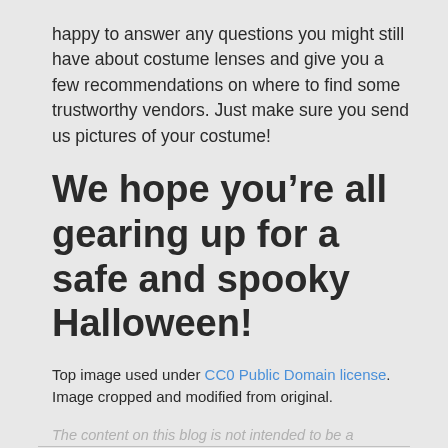happy to answer any questions you might still have about costume lenses and give you a few recommendations on where to find some trustworthy vendors. Just make sure you send us pictures of your costume!
We hope you’re all gearing up for a safe and spooky Halloween!
Top image used under CC0 Public Domain license. Image cropped and modified from original.
The content on this blog is not intended to be a substitute for professional medical advice, diagnosis, or treatment. Always seek the advice of qualified health providers with questions you may have regarding medical conditions.